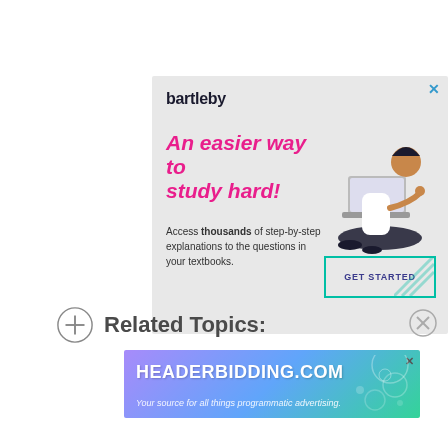[Figure (infographic): Bartleby advertisement with logo, headline 'An easier way to study hard!', body text 'Access thousands of step-by-step explanations to the questions in your textbooks.', a GET STARTED button, and an illustration of a person sitting with a laptop. Close button (X) in top right.]
Related Topics:
[Figure (infographic): HEADERBIDDING.COM advertisement banner with tagline 'Your source for all things programmatic advertising.' Gradient background from purple to blue to teal with decorative circles.]